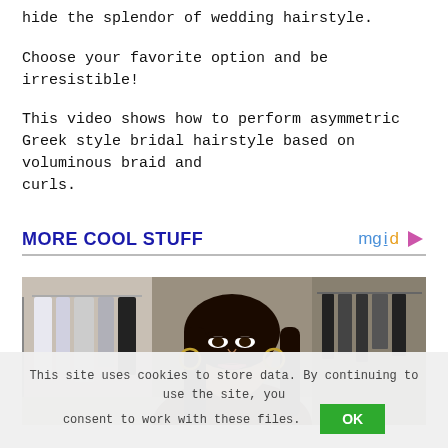hide the splendor of wedding hairstyle.
Choose your favorite option and be irresistible!
This video shows how to perform asymmetric Greek style bridal hairstyle based on voluminous braid and curls.
MORE COOL STUFF
[Figure (photo): Young woman with long dark hair, wearing hoop earrings, with clothing racks in background]
This site uses cookies to store data. By continuing to use the site, you consent to work with these files.